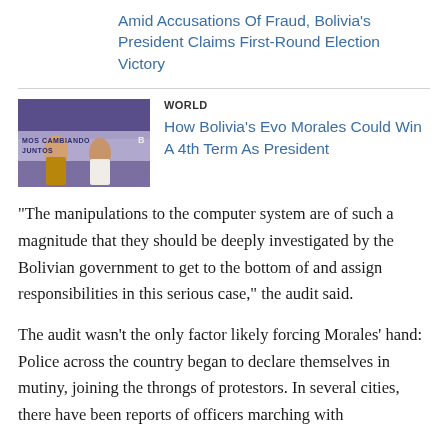Amid Accusations Of Fraud, Bolivia's President Claims First-Round Election Victory
[Figure (photo): Photo of two people at a campaign event with purple and white banner reading 'MOS CAMBIANDO JUNTOS']
WORLD
How Bolivia's Evo Morales Could Win A 4th Term As President
"The manipulations to the computer system are of such a magnitude that they should be deeply investigated by the Bolivian government to get to the bottom of and assign responsibilities in this serious case," the audit said.
The audit wasn't the only factor likely forcing Morales' hand: Police across the country began to declare themselves in mutiny, joining the throngs of protestors. In several cities, there have been reports of officers marching with